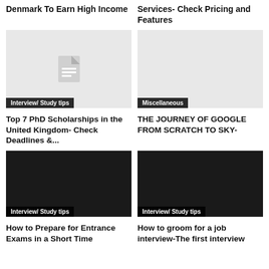Denmark To Earn High Income
Services- Check Pricing and Features
[Figure (illustration): Light gray placeholder image with a document icon in the center, badge reading 'Interview/ Study tips']
Interview/ Study tips
Top 7 PhD Scholarships in the United Kingdom- Check Deadlines &...
[Figure (illustration): Empty light gray placeholder image, badge reading 'Miscellaneous']
Miscellaneous
THE JOURNEY OF GOOGLE FROM SCRATCH TO SKY-
[Figure (illustration): Dark black placeholder image, badge reading 'Interview/ Study tips']
Interview/ Study tips
How to Prepare for Entrance Exams in a Short Time
[Figure (illustration): Dark black placeholder image, badge reading 'Interview/ Study tips']
Interview/ Study tips
How to groom for a job interview-The first interview